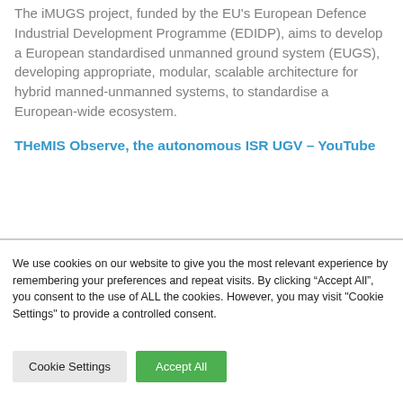The iMUGS project, funded by the EU's European Defence Industrial Development Programme (EDIDP), aims to develop a European standardised unmanned ground system (EUGS), developing appropriate, modular, scalable architecture for hybrid manned-unmanned systems, to standardise a European-wide ecosystem.
THeMIS Observe, the autonomous ISR UGV – YouTube
We use cookies on our website to give you the most relevant experience by remembering your preferences and repeat visits. By clicking "Accept All", you consent to the use of ALL the cookies. However, you may visit "Cookie Settings" to provide a controlled consent.